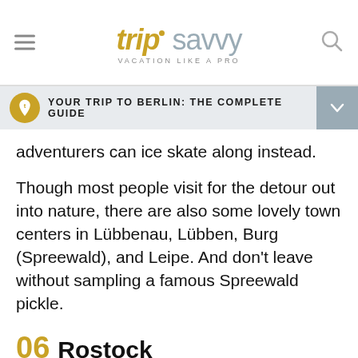tripsavvy VACATION LIKE A PRO
YOUR TRIP TO BERLIN: THE COMPLETE GUIDE
adventurers can ice skate along instead.
Though most people visit for the detour out into nature, there are also some lovely town centers in Lübbenau, Lübben, Burg (Spreewald), and Leipe. And don't leave without sampling a famous Spreewald pickle.
06 Rostock
of 06
Ad
[Figure (logo): Dotdash Meredith advertisement banner: 'We help people find answers, solve problems and get inspired.' with Dotdash Meredith logo]